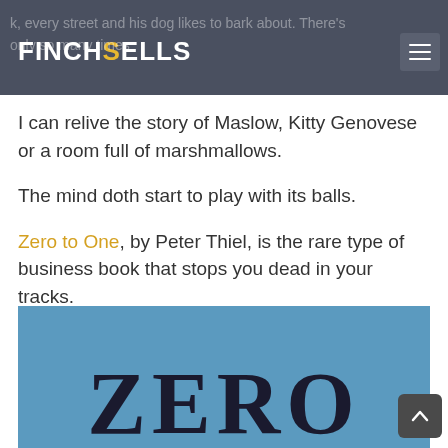Finch Sells
I can relive the story of Maslow, Kitty Genovese or a room full of marshmallows.
The mind doth start to play with its balls.
Zero to One, by Peter Thiel, is the rare type of business book that stops you dead in your tracks.
[Figure (photo): Book cover of 'Zero to One' showing the word ZERO in large serif font on a blue background]